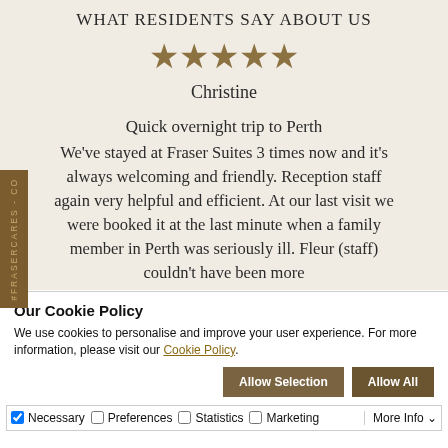WHAT RESIDENTS SAY ABOUT US
[Figure (other): Five gold/brown star rating icons]
Christine
Quick overnight trip to Perth
We've stayed at Fraser Suites 3 times now and it's always welcoming and friendly. Reception staff again very helpful and efficient. At our last visit we were booked it at the last minute when a family member in Perth was seriously ill. Fleur (staff) couldn't have been more
Our Cookie Policy
We use cookies to personalise and improve your user experience. For more information, please visit our Cookie Policy.
Allow Selection  Allow All
Necessary  Preferences  Statistics  Marketing  More Info